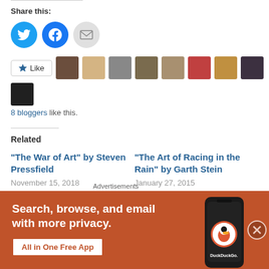Share this:
[Figure (infographic): Social share buttons: Twitter (blue circle), Facebook (blue circle), Email (grey circle)]
[Figure (infographic): Like button with star icon and 8 blogger avatars beside it]
8 bloggers like this.
Related
“The War of Art” by Steven Pressfield
November 15, 2018
“The Art of Racing in the Rain” by Garth Stein
January 27, 2015
[Figure (infographic): DuckDuckGo advertisement banner: Search, browse, and email with more privacy. All in One Free App. Shows a phone with DuckDuckGo app.]